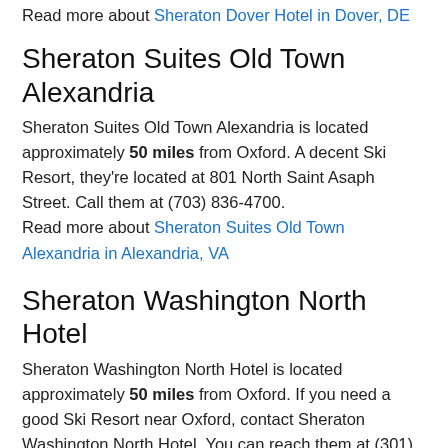Read more about Sheraton Dover Hotel in Dover, DE
Sheraton Suites Old Town Alexandria
Sheraton Suites Old Town Alexandria is located approximately 50 miles from Oxford. A decent Ski Resort, they're located at 801 North Saint Asaph Street. Call them at (703) 836-4700. Read more about Sheraton Suites Old Town Alexandria in Alexandria, VA
Sheraton Washington North Hotel
Sheraton Washington North Hotel is located approximately 50 miles from Oxford. If you need a good Ski Resort near Oxford, contact Sheraton Washington North Hotel. You can reach them at (301) 937-4422.